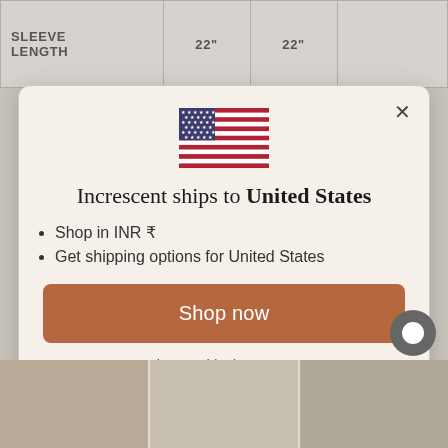| SLEEVE LENGTH |  |  |
| --- | --- | --- |
|  | 22" | 22" |
[Figure (screenshot): US flag icon centered in modal dialog]
Increscent ships to United States
Shop in INR ₹
Get shipping options for United States
Shop now
Change shipping country